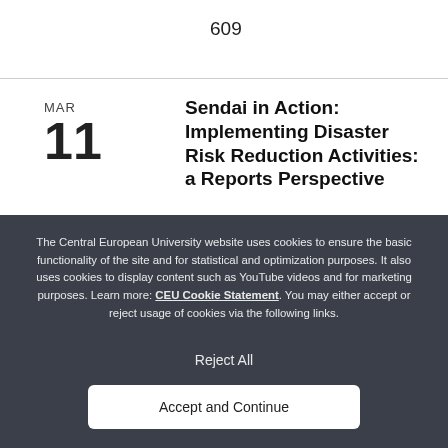609
MAR
11
Sendai in Action: Implementing Disaster Risk Reduction Activities: a Reports Perspective
The Central European University website uses cookies to ensure the basic functionality of the site and for statistical and optimization purposes. It also uses cookies to display content such as YouTube videos and for marketing purposes. Learn more: CEU Cookie Statement. You may either accept or reject usage of cookies via the following links.
Reject All
Accept and Continue